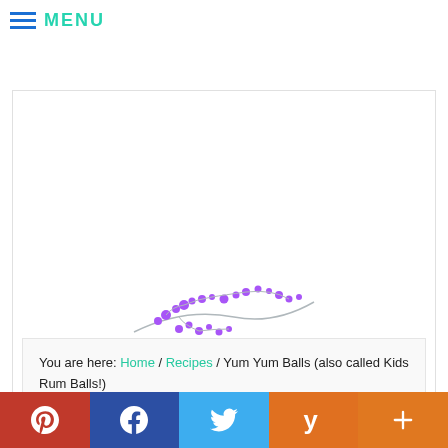MENU
[Figure (logo): The Links Site logo with purple branch illustration above teal 'The Links Site' text and purple 'Home. Garden. Recipes.' tagline]
You are here: Home / Recipes / Yum Yum Balls (also called Kids Rum Balls!)